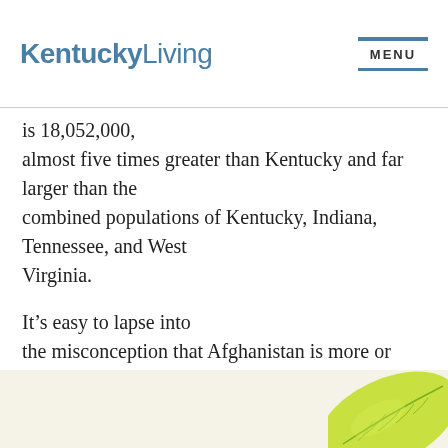KentuckyLiving  MENU
is 18,052,000, almost five times greater than Kentucky and far larger than the combined populations of Kentucky, Indiana, Tennessee, and West Virginia.
It’s easy to lapse into the misconception that Afghanistan is more or less the size of a postage stamp. Maybe it’s because we tend to think that the world map shrinks with distance. Children know better.
[Figure (illustration): Green leaf illustration in bottom-right corner of the page]